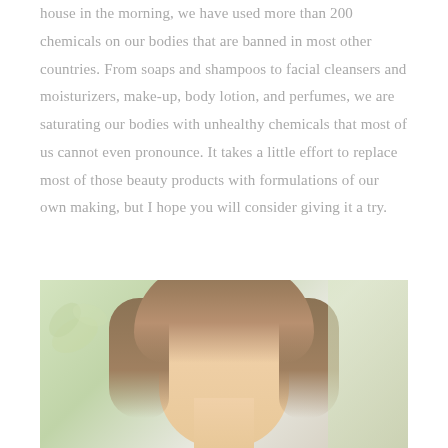house in the morning, we have used more than 200 chemicals on our bodies that are banned in most other countries. From soaps and shampoos to facial cleansers and moisturizers, make-up, body lotion, and perfumes, we are saturating our bodies with unhealthy chemicals that most of us cannot even pronounce. It takes a little effort to replace most of those beauty products with formulations of our own making, but I hope you will consider giving it a try.
[Figure (photo): Portrait photo of a woman with brown highlighted hair against a soft green and white floral background]